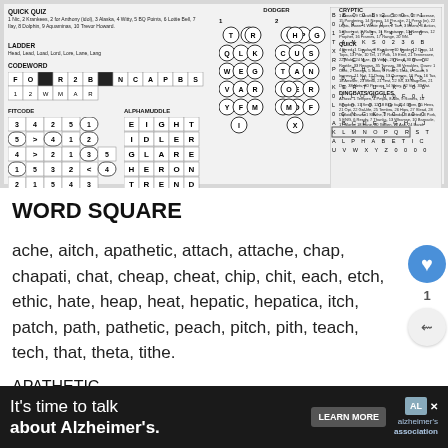[Figure (other): Puzzle page top section showing Quick Quiz, Ladder, Codeword, Fitcode, Alphamuddle, Dodger, Goshi and word search grid puzzles with clues and answer grids]
WORD SQUARE
ache, aitch, apathetic, attach, attache, chap, chapati, chat, cheap, cheat, chip, chit, each, etch, ethic, hate, heap, heat, hepatic, hepatica, itch, patch, path, pathetic, peach, pitch, pith, teach, tech, that, theta, tithe.
APATHETIC
WORD SPIRAL
[Figure (other): Advertisement banner: It's time to talk about Alzheimer's. with LEARN MORE button and Alzheimer's Association logo]